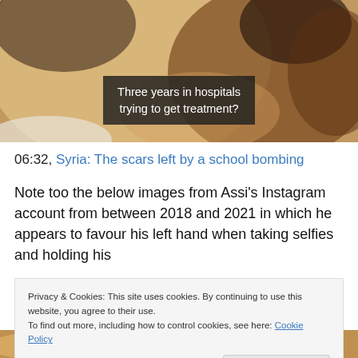[Figure (photo): Close-up photograph of a man's face and neck, with warm skin tones. Overlaid text box reads: 'Three years in hospitals trying to get treatment?']
06:32, Syria: The scars left by a school bombing
Note too the below images from Assi's Instagram account from between 2018 and 2021 in which he appears to favour his left hand when taking selfies and holding his
Privacy & Cookies: This site uses cookies. By continuing to use this website, you agree to their use.
To find out more, including how to control cookies, see here: Cookie Policy
Close and accept
[Figure (photo): Bottom portion of another photograph, partially visible.]